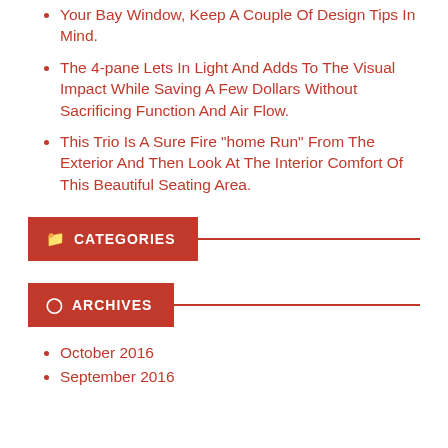Your Bay Window, Keep A Couple Of Design Tips In Mind.
The 4-pane Lets In Light And Adds To The Visual Impact While Saving A Few Dollars Without Sacrificing Function And Air Flow.
This Trio Is A Sure Fire "home Run" From The Exterior And Then Look At The Interior Comfort Of This Beautiful Seating Area.
CATEGORIES
ARCHIVES
October 2016
September 2016